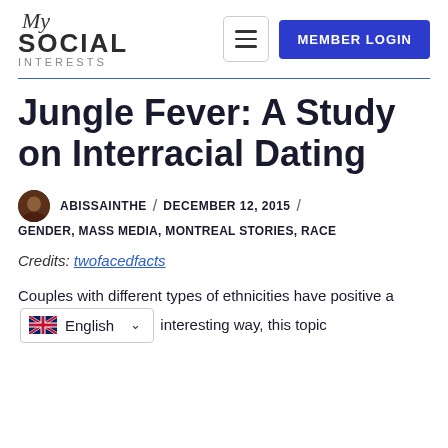My Social Interests — MEMBER LOGIN
Jungle Fever: A Study on Interracial Dating
ABISSAINTHE / DECEMBER 12, 2015 / GENDER, MASS MEDIA, MONTREAL STORIES, RACE
Credits: twofacedfacts
Couples with different types of ethnicities have positive a [English] interesting way, this topic